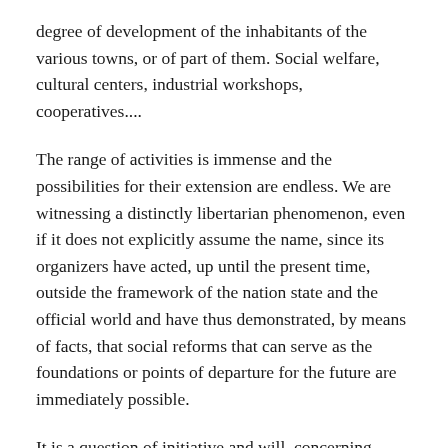degree of development of the inhabitants of the various towns, or of part of them. Social welfare, cultural centers, industrial workshops, cooperatives....
The range of activities is immense and the possibilities for their extension are endless. We are witnessing a distinctly libertarian phenomenon, even if it does not explicitly assume the name, since its organizers have acted, up until the present time, outside the framework of the nation state and the official world and have thus demonstrated, by means of facts, that social reforms that can serve as the foundations or points of departure for the future are immediately possible.
It is a question of initiative and will, concerning which the “communities of labor” set an example in France.